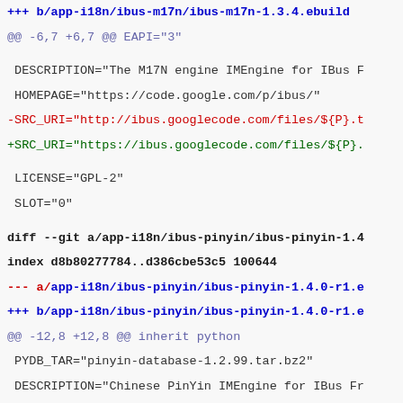+++ b/app-i18n/ibus-m17n/ibus-m17n-1.3.4.ebuild
@@ -6,7 +6,7 @@ EAPI="3"
DESCRIPTION="The M17N engine IMEngine for IBus F
HOMEPAGE="https://code.google.com/p/ibus/"
-SRC_URI="http://ibus.googlecode.com/files/${P}.t
+SRC_URI="https://ibus.googlecode.com/files/${P}.
LICENSE="GPL-2"
SLOT="0"
diff --git a/app-i18n/ibus-pinyin/ibus-pinyin-1.4
index d8b80277784..d386cbe53c5 100644
--- a/app-i18n/ibus-pinyin/ibus-pinyin-1.4.0-r1.e
+++ b/app-i18n/ibus-pinyin/ibus-pinyin-1.4.0-r1.e
@@ -12,8 +12,8 @@ inherit python
PYDB_TAR="pinyin-database-1.2.99.tar.bz2"
DESCRIPTION="Chinese PinYin IMEngine for IBus Fr
HOMEPAGE="https://code.google.com/p/ibus/"
-SRC_URI="http://ibus.googlecode.com/files/${P}.t
-          http://ibus.googlecode.com/files/${PYDB_T
+SRC_URI="https://ibus.googlecode.com/files/${P}.